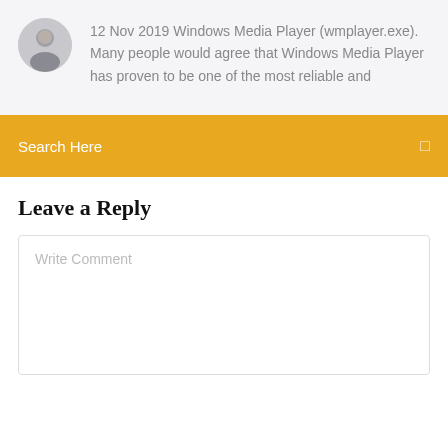12 Nov 2019 Windows Media Player (wmplayer.exe). Many people would agree that Windows Media Player has proven to be one of the most reliable and
Search Here
Leave a Reply
Write Comment